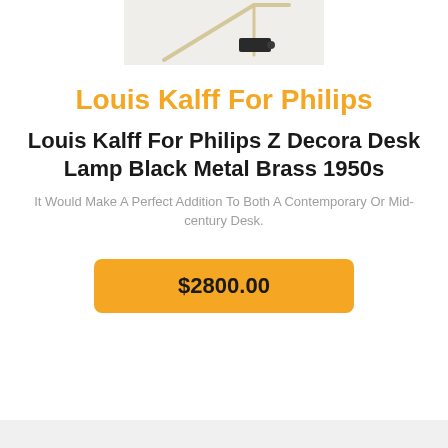[Figure (photo): Partial photo of a Louis Kalff Philips Z Decora desk lamp with black metal and brass components on white background]
Louis Kalff For Philips
Louis Kalff For Philips Z Decora Desk Lamp Black Metal Brass 1950s
It Would Make A Perfect Addition To Both A Contemporary Or Mid-century Desk.
$2800.00